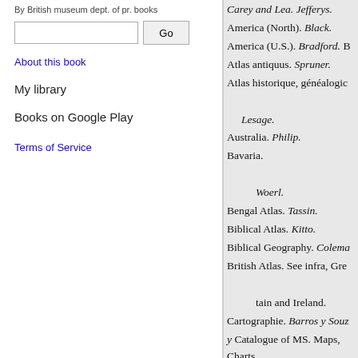By British museum dept. of pr. books
About this book
My library
Books on Google Play
Terms of Service
Carey and Lea. Jefferys. America (North). Black. America (U.S.). Bradford. B Atlas antiquus. Spruner. Atlas historique, généalogio Lesage. Australia. Philip. Bavaria. Woerl. Bengal Atlas. Tassin. Biblical Atlas. Kitto. Biblical Geography. Colema British Atlas. See infra, Gre tain and Ireland. Cartographie. Barros y Sou y Catalogue of MS. Maps, Charts &c. Catalogues. Chine. Bourg foot. Classical Geography. Johns Classical, Historical, and S